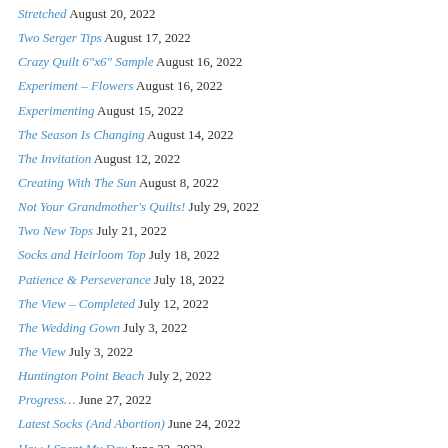Stretched August 20, 2022
Two Serger Tips August 17, 2022
Crazy Quilt 6"x6" Sample August 16, 2022
Experiment – Flowers August 16, 2022
Experimenting August 15, 2022
The Season Is Changing August 14, 2022
The Invitation August 12, 2022
Creating With The Sun August 8, 2022
Not Your Grandmother's Quilts! July 29, 2022
Two New Tops July 21, 2022
Socks and Heirloom Top July 18, 2022
Patience & Perseverance July 18, 2022
The View – Completed July 12, 2022
The Wedding Gown July 3, 2022
The View July 3, 2022
Huntington Point Beach July 2, 2022
Progress… June 27, 2022
Latest Socks (And Abortion) June 24, 2022
How I Spent My Day June 22, 2022